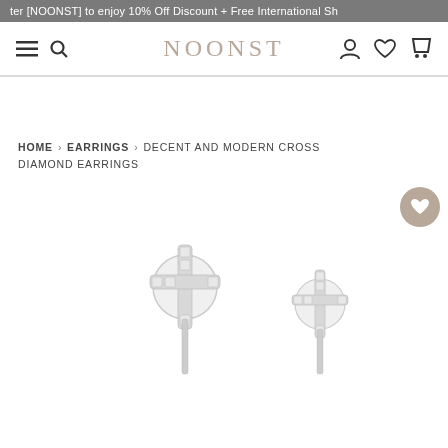ter [NOONST] to enjoy 10% Off Discount + Free International Sh
[Figure (screenshot): NOONST e-commerce website navigation bar with hamburger menu, search icon, NOONST logo in rose-gold, user account icon, wishlist heart icon, and shopping cart icon]
HOME > EARRINGS > DECENT AND MODERN CROSS DIAMOND EARRINGS
[Figure (photo): Two diamond cross earrings on white background - silver cross-shaped studs with diamond pavé setting on circular base with pin, shown side by side]